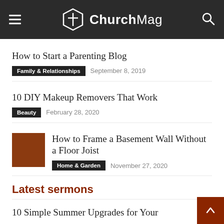ChurchMag
How to Start a Parenting Blog
Family & Relationships   September 8, 2019
10 DIY Makeup Removers That Work
Beauty   February 28, 2020
How to Frame a Basement Wall Without a Floor Joist
Home & Garden   November 27, 2020
Latest sermons
10 Simple Summer Upgrades for Your